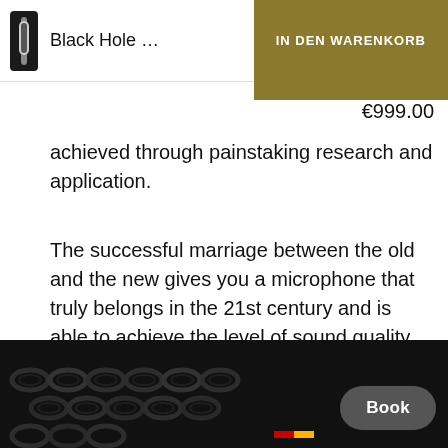Black Hole ... | IN DEN WARENKORB
€999.00
achieved through painstaking research and application.
The successful marriage between the old and the new gives you a microphone that truly belongs in the 21st century and is able to achieve the level of sound quality demanded in today's industry.
[Figure (photo): Dark close-up photo of metallic chains on a black background, with a rounded dark 'Book' button overlay in the bottom right and a small red-yellow flag icon below it.]